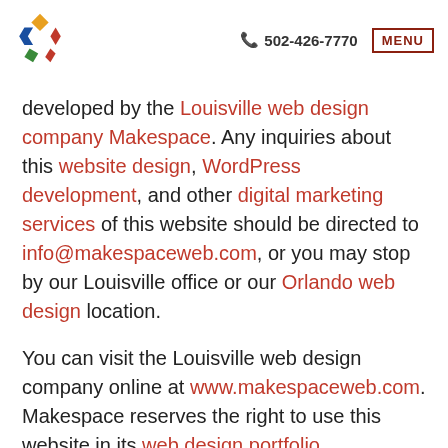502-426-7770  MENU
developed by the Louisville web design company Makespace. Any inquiries about this website design, WordPress development, and other digital marketing services of this website should be directed to info@makespaceweb.com, or you may stop by our Louisville office or our Orlando web design location.
You can visit the Louisville web design company online at www.makespaceweb.com. Makespace reserves the right to use this website in its web design portfolio.